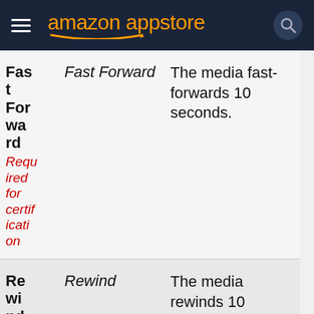amazon appstore
| Key (constant) | Key (string) | Description |
| --- | --- | --- |
| Fast Forward
Required for certification | Fast Forward | The media fast-forwards 10 seconds. |
| Rewind
Required for certification | Rewind | The media rewinds 10 seconds. |